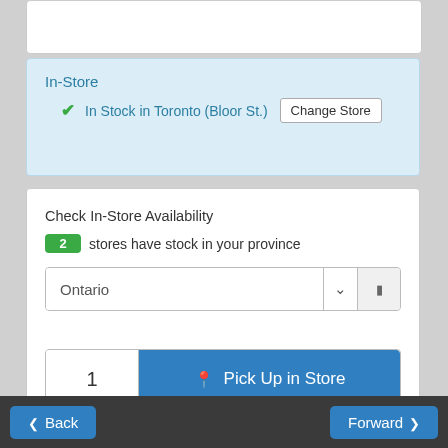In-Store
✔ In Stock in Toronto (Bloor St.)
Change Store
Check In-Store Availability
2 stores have stock in your province
Ontario
1  Pick Up in Store
1  Ship from Store
Back   Forward